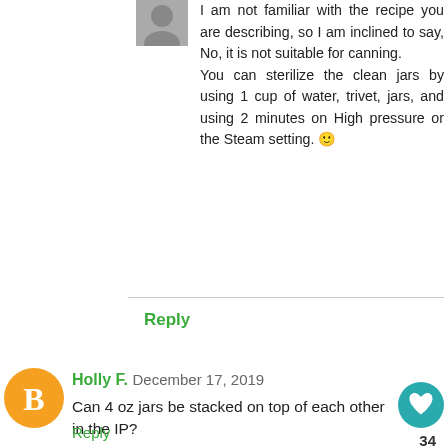I am not familiar with the recipe you are describing, so I am inclined to say, No, it is not suitable for canning.
You can sterilize the clean jars by using 1 cup of water, trivet, jars, and using 2 minutes on High pressure or the Steam setting. 🙂
Reply
Holly F.  December 17, 2019
Can 4 oz jars be stacked on top of each other in the IP?
Reply
▾ Replies
Frieda Loves Bread  December 17, 2019
Yes they can. You will need to c... described in the IP Steam Canning r... found here. This link is also found in the first paragraph at the top of this page.